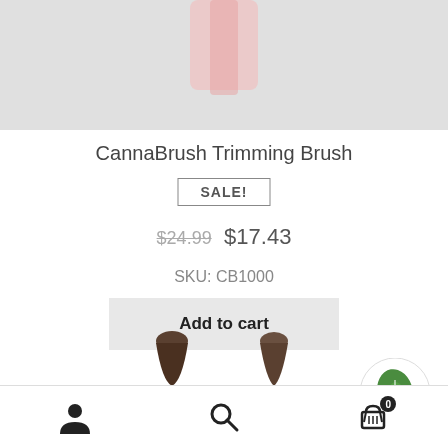[Figure (photo): Product image area showing partial view of CannaBrush Trimming Brush on light gray background]
CannaBrush Trimming Brush
SALE!
$24.99  $17.43
SKU: CB1000
Add to cart
[Figure (logo): Green leaf logo icon in white circle]
[Figure (photo): Partial bottom thumbnails of related products]
User icon | Search icon | Cart icon with badge 0